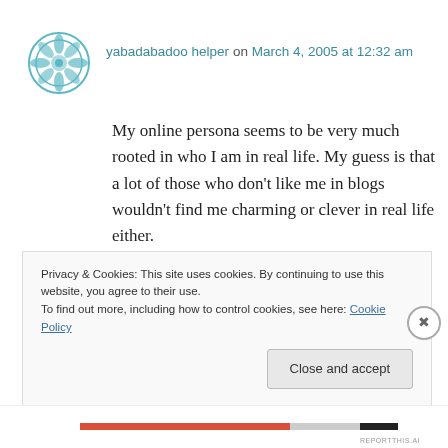[Figure (logo): Teal decorative mandala/snowflake avatar icon for user yabadabadoo]
yabadabadoo helper on March 4, 2005 at 12:32 am
My online persona seems to be very much rooted in who I am in real life. My guess is that a lot of those who don't like me in blogs wouldn't find me charming or clever in real life either.
In a group conversation with several of my co-workers, a friend mentioned to me, “By the way, I notice you don’t swear a lot.” I shot back, “Open
Privacy & Cookies: This site uses cookies. By continuing to use this website, you agree to their use.
To find out more, including how to control cookies, see here: Cookie Policy
Close and accept